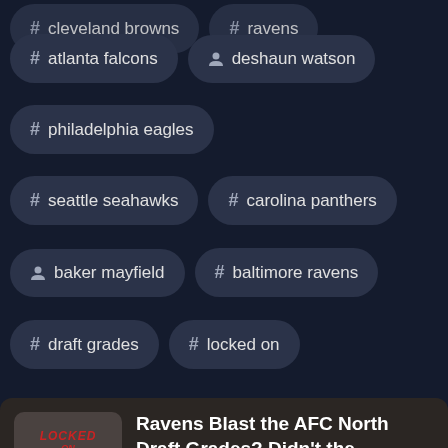# cleveland browns  # ravens
# atlanta falcons  person deshaun watson
# philadelphia eagles
# seattle seahawks  # carolina panthers
person baker mayfield  # baltimore ravens
# draft grades  # locked on
# top teams
[Figure (logo): Locked On NFL Draft podcast logo with red bold italic text on dark background]
Ravens Blast the AFC North Draft Grades? Didn't the Bengals, Browns or Steelers Keep up?